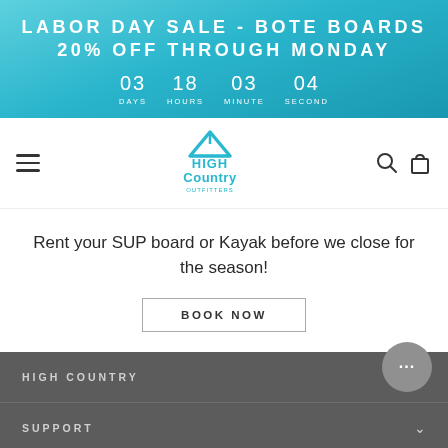LABOR DAY SALE - BOTE BOARDS 20% OFF THROUGH MONDAY
03 DAYS  18 HOURS  03 MINUTE  04 SECOND
[Figure (logo): High Country Outfitters logo in teal/cyan]
Rent your SUP board or Kayak before we close for the season!
BOOK NOW
HIGH COUNTRY
SUPPORT
OUR MISSION